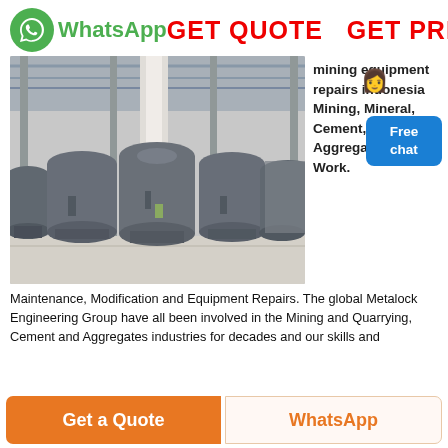[Figure (logo): WhatsApp green phone icon logo with text 'WhatsApp' in green bold font]
GET QUOTE   GET PRICE
[Figure (photo): Industrial factory floor with large grey mining mill machines lined up in a row inside a warehouse]
mining equipment repairs indonesia Mining, Mineral, Cement, and Aggregates Repair Work.
Maintenance, Modification and Equipment Repairs. The global Metalock Engineering Group have all been involved in the Mining and Quarrying, Cement and Aggregates industries for decades and our skills and
Get a Quote
WhatsApp